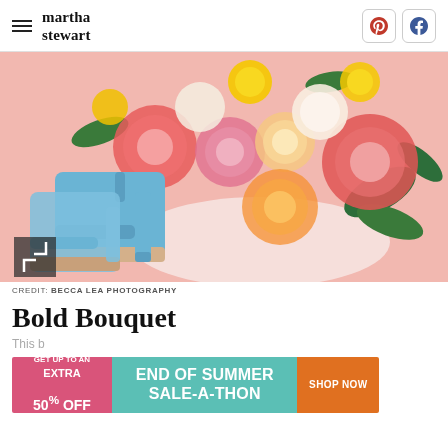martha stewart
[Figure (photo): Blue suede heeled sandals lying beside a colorful bridal bouquet with pink peonies, coral roses, yellow ranunculus, and white flowers on a pink background]
CREDIT: BECCA LEA PHOTOGRAPHY
Bold Bouquet
This b...
[Figure (infographic): Advertisement banner: GET UP TO AN EXTRA 50% OFF | END OF SUMMER SALE-A-THON | SHOP NOW]